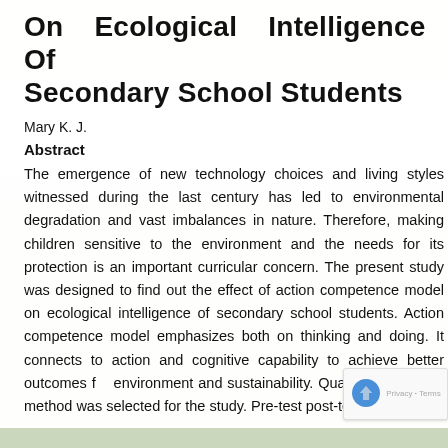On Ecological Intelligence Of Secondary School Students
Mary K. J.
Abstract
The emergence of new technology choices and living styles witnessed during the last century has led to environmental degradation and vast imbalances in nature. Therefore, making children sensitive to the environment and the needs for its protection is an important curricular concern. The present study was designed to find out the effect of action competence model on ecological intelligence of secondary school students. Action competence model emphasizes both on thinking and doing. It connects to action and cognitive capability to achieve better outcomes for environment and sustainability. Quasi experimental method was selected for the study. Pre-test post-test